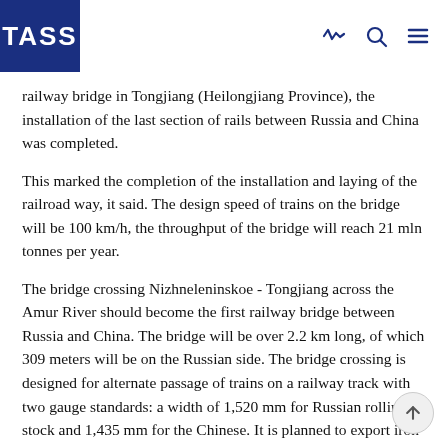TASS
railway bridge in Tongjiang (Heilongjiang Province), the installation of the last section of rails between Russia and China was completed.
This marked the completion of the installation and laying of the railroad way, it said. The design speed of trains on the bridge will be 100 km/h, the throughput of the bridge will reach 21 mln tonnes per year.
The bridge crossing Nizhneleninskoe - Tongjiang across the Amur River should become the first railway bridge between Russia and China. The bridge will be over 2.2 km long, of which 309 meters will be on the Russian side. The bridge crossing is designed for alternate passage of trains on a railway track with two gauge standards: a width of 1,520 mm for Russian rolling stock and 1,435 mm for the Chinese. It is planned to export iron ore, coal, mineral fertilizers, and forest products across the bridge to China.